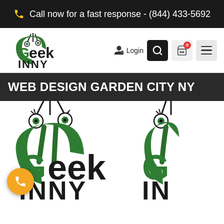Call now for a fast response - (844) 433-5692
[Figure (logo): Geek INNY logo with two alien-like eye creatures on a green C shape]
Login
WEB DESIGN GARDEN CITY NY
[Figure (logo): Large Geek INNY logo repeated twice side by side, partially cropped]
[Figure (logo): Second large Geek INNY logo, partially cropped on right]